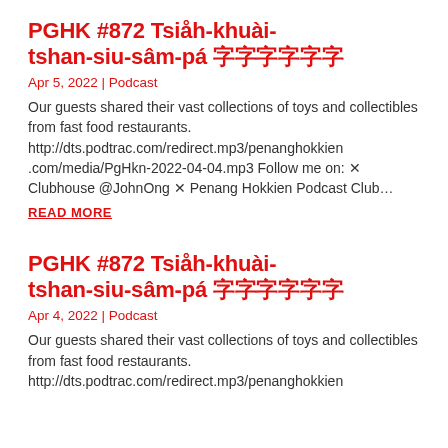PGHK #872 Tsiåh-khuài-tshan-siu-sâm-pá 🀆🀆🀆🀆🀆🀆
Apr 5, 2022 | Podcast
Our guests shared their vast collections of toys and collectibles from fast food restaurants. http://dts.podtrac.com/redirect.mp3/penanghokkien.com/media/PgHkn-2022-04-04.mp3 Follow me on: 🀆 Clubhouse @JohnOng 🀆 Penang Hokkien Podcast Club…
READ MORE
PGHK #872 Tsiåh-khuài-tshan-siu-sâm-pá 🀆🀆🀆🀆🀆🀆
Apr 4, 2022 | Podcast
Our guests shared their vast collections of toys and collectibles from fast food restaurants. http://dts.podtrac.com/redirect.mp3/penanghokkien.com/media/PgHkn-2022-04-04.mp3…